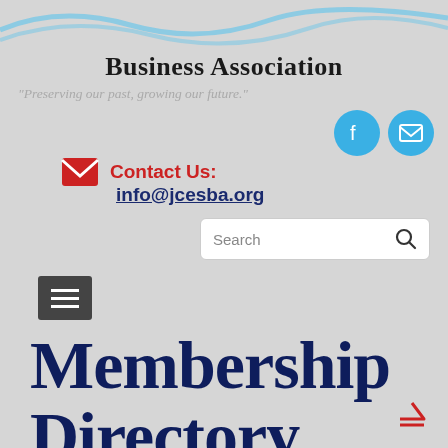[Figure (illustration): Blue wave decorative graphic at the top of the page]
Business Association
"Preserving our past, growing our future."
[Figure (logo): Facebook icon and email/envelope icon as blue circular social media buttons]
Contact Us: info@jcesba.org
[Figure (screenshot): Search bar with placeholder text 'Search' and magnifying glass icon]
[Figure (other): Hamburger menu icon (three horizontal lines on dark background)]
Membership Directory